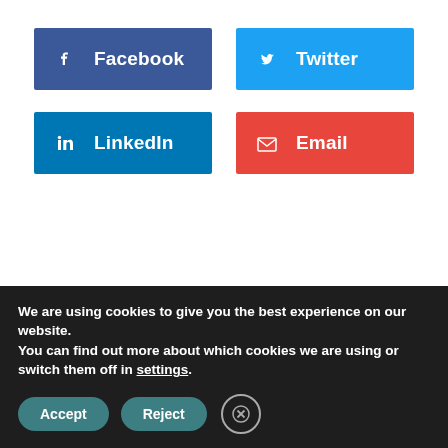[Figure (infographic): Social share buttons: Facebook (dark blue), Twitter (light blue), LinkedIn (medium blue), Email (red), each with an icon and label]
Previous
Next
We are using cookies to give you the best experience on our website.
You can find out more about which cookies we are using or switch them off in settings.
Accept
Reject